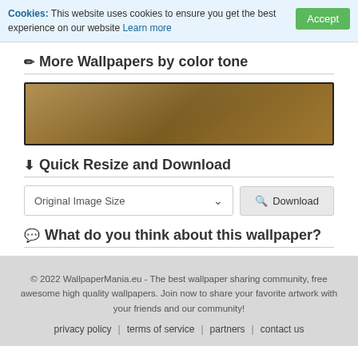Cookies: This website uses cookies to ensure you get the best experience on our website Learn more
More Wallpapers by color tone
[Figure (illustration): A horizontal brown/tan color tone bar with a glossy gradient effect, bordered in dark.]
Quick Resize and Download
Original Image Size  Download
What do you think about this wallpaper?
© 2022 WallpaperMania.eu - The best wallpaper sharing community, free awesome high quality wallpapers. Join now to share your favorite artwork with your friends and our community! privacy policy | terms of service | partners | contact us